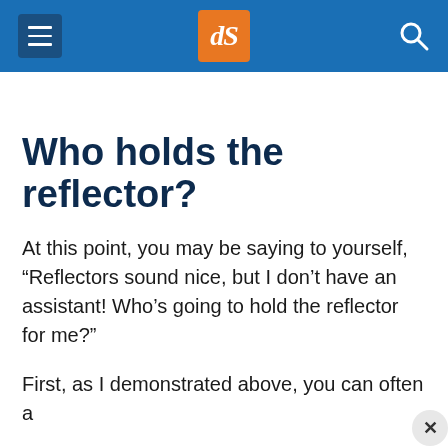dPS navigation header with hamburger menu, dPS logo, and search icon
Who holds the reflector?
At this point, you may be saying to yourself, “Reflectors sound nice, but I don’t have an assistant! Who’s going to hold the reflector for me?”
First, as I demonstrated above, you can often a…